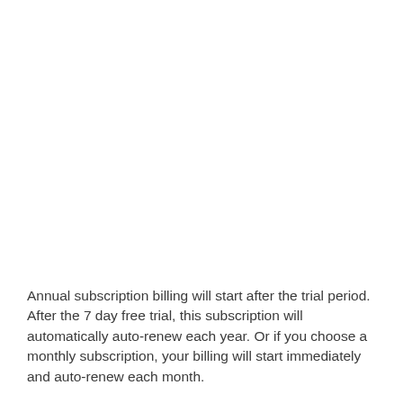Annual subscription billing will start after the trial period. After the 7 day free trial, this subscription will automatically auto-renew each year. Or if you choose a monthly subscription, your billing will start immediately and auto-renew each month.